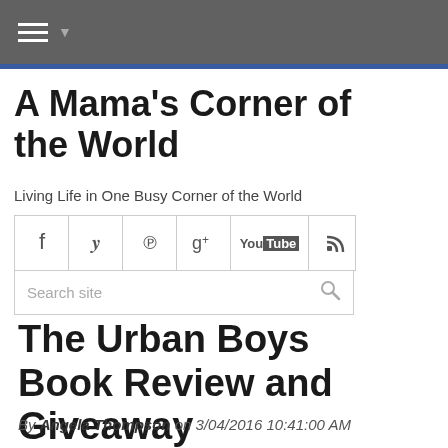☰ ▾ (navigation bar)
A Mama's Corner of the World
Living Life in One Busy Corner of the World
[Figure (screenshot): Social media icons bar with Facebook, Twitter, Pinterest, Google+, YouTube, RSS icons, and a Search site input field]
The Urban Boys Book Review and Giveaway
By Angela Thompson on 3/04/2016 10:41:00 AM